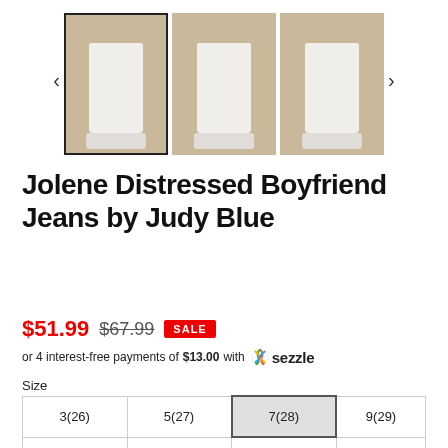[Figure (photo): Three product images of white distressed boyfriend jeans with navigation arrows on left and right. First image is selected (highlighted border). Models wearing white jeans with sneakers against brown background.]
Jolene Distressed Boyfriend Jeans by Judy Blue
$51.99 $67.99 SALE
or 4 interest-free payments of $13.00 with Sezzle
Size
| 3(26) | 5(27) | 7(28) | 9(29) |
| 11(30) | 13(31) | 15(32) | 14W |